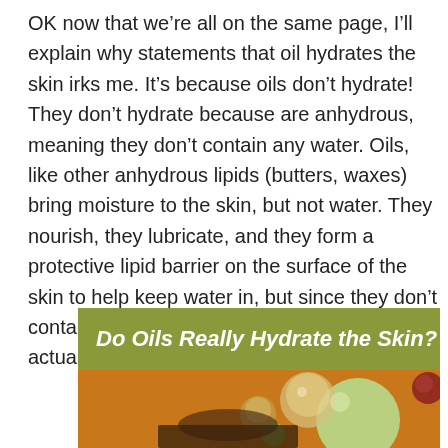OK now that we're all on the same page, I'll explain why statements that oil hydrates the skin irks me. It's because oils don't hydrate! They don't hydrate because are anhydrous, meaning they don't contain any water. Oils, like other anhydrous lipids (butters, waxes) bring moisture to the skin, but not water. They nourish, they lubricate, and they form a protective lipid barrier on the surface of the skin to help keep water in, but since they don't contain any water themselves, they do not actually moisturize by hydrating.
[Figure (infographic): Infographic image with olive/green banner header reading 'Do Oils Really Hydrate the Skin?' in bold italic white text, above a photo section showing glass marbles/orbs on a warm background.]